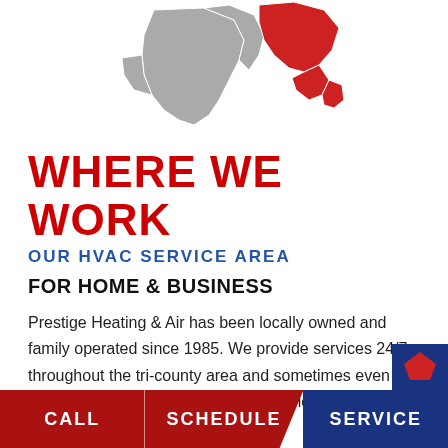[Figure (map): Partial map of US Mid-Atlantic states region with gray and red shading indicating service area]
WHERE WE WORK
OUR HVAC SERVICE AREA
FOR HOME & BUSINESS
Prestige Heating & Air has been locally owned and family operated since 1985. We provide services 24/7 throughout the tri-county area and sometimes even beyond. We offer experience and service in all aspects of your HVAC needs including:
HVAC System Design
CALL   SCHEDULE   SERVICE